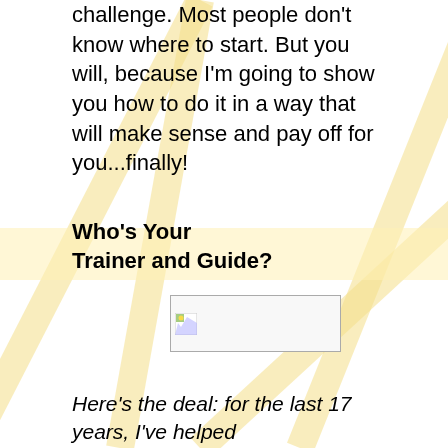challenge. Most people don't know where to start. But you will, because I'm going to show you how to do it in a way that will make sense and pay off for you...finally!
Who's Your Trainer and Guide?
[Figure (photo): Broken/placeholder image thumbnail]
Here's the deal: for the last 17 years, I've helped